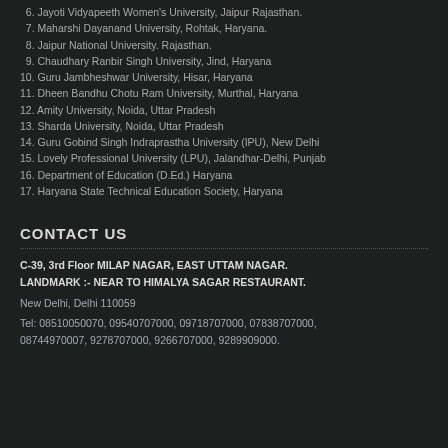6. Jayoti Vidyapeeth Women's University, Jaipur Rajasthan.
7. Maharshi Dayanand University, Rohtak, Haryana.
8. Jaipur National University. Rajasthan.
9. Chaudhary Ranbir Singh University, Jind, Haryana
10. Guru Jambheshwar University, Hisar, Haryana
11. Dheen Bandhu Chotu Ram University, Murthal, Haryana
12. Amity University, Noida, Uttar Pradesh
13. Sharda University, Noida, Uttar Pradesh
14. Guru Gobind Singh Indraprastha University (IPU), New Delhi
15. Lovely Professional University (LPU), Jalandhar-Delhi, Punjab
16. Department of Education (D.Ed.) Haryana
17. Haryana State Technical Education Society, Haryana
CONTACT US
C-39, 3rd Floor MILAP NAGAR, EAST UTTAM NAGAR. LANDMARK :- NEAR TO HIMALYA SAGAR RESTAURANT.
New Delhi, Delhi 110059
Tel: 08510050070, 09540707000, 09718707000, 07838707000, 08744970007, 9278707000, 9266707000, 9289909000.